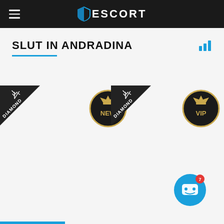ESCORT
SLUT IN ANDRADINA
[Figure (logo): ESCORT website logo with blue shield icon and white text on dark background]
[Figure (infographic): Diamond badge ribbon (top-left corner badge) with text DIAMOND on dark triangular ribbon, with decorative antler/fork icon]
[Figure (infographic): NEW circular badge with crown icon and gold border on dark background]
[Figure (infographic): Diamond badge ribbon (center) with text DIAMOND on dark triangular ribbon, with decorative antler/fork icon]
[Figure (infographic): VIP circular badge with crown icon and gold border on dark background]
[Figure (infographic): Blue circular chat/support button with white robot/bot face icon and red notification badge showing 7]